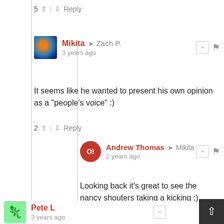5 ↑ | ↓ Reply
Mikita → Zach P.
3 years ago
It seems like he wanted to present his own opinion as a "people's voice" :)
2 ↑ | ↓ Reply
Andrew Thomas → Mikita
2 years ago
Looking back it's great to see the nancy shouters taking a kicking :)
1 ↑ | ↓ Reply
Larry Holmack
3 years ago
I like the SINN....I am a sucker for an Automatic Chronograph.
1 ↑ | ↓ Reply
Pete L
3 years ago